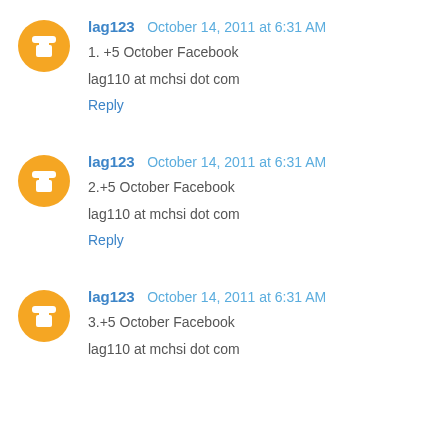lag123  October 14, 2011 at 6:31 AM
1. +5 October Facebook
lag110 at mchsi dot com
Reply
lag123  October 14, 2011 at 6:31 AM
2.+5 October Facebook
lag110 at mchsi dot com
Reply
lag123  October 14, 2011 at 6:31 AM
3.+5 October Facebook
lag110 at mchsi dot com